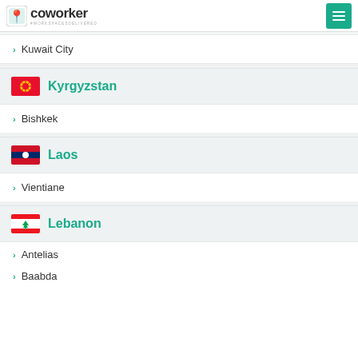coworker #WORKSPACESDELIVERED
Kuwait City
Kyrgyzstan
Bishkek
Laos
Vientiane
Lebanon
Antelias
Baabda